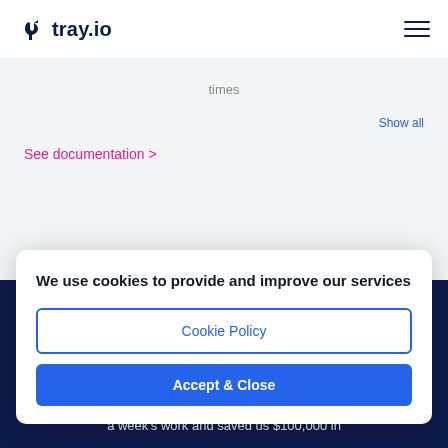[Figure (logo): tray.io logo with icon on left and text on right]
[Figure (other): Hamburger menu icon (three horizontal lines)]
times
Show all
See documentation >
We use cookies to provide and improve our services
Cookie Policy
Accept & Close
a week's work and saved us $100,000 in